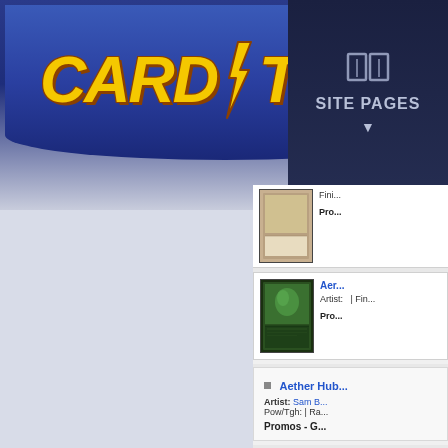[Figure (screenshot): CardTitan website screenshot showing logo, site pages nav, and card listings on the right side]
CARD TITAN
SITE PAGES
Fin... Pro...
Aer... Artist: | Fin... Pro...
Aether Hub Artist: Sam B... Pow/Tgh: | Ra... Promos - G...
Age... Artist: Pow... Pro...